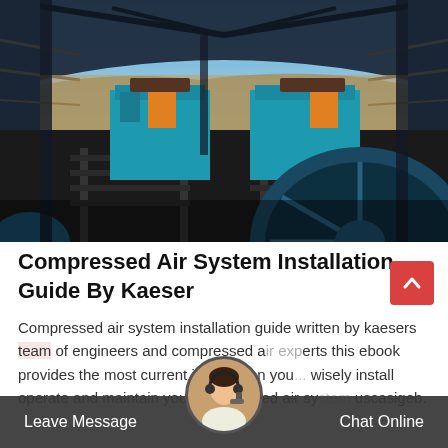[Figure (photo): Industrial compressed air equipment inside a large warehouse/factory structure with blue machinery and steel framework, desert landscape visible through openings]
Compressed Air System Installation Guide By Kaeser
Compressed air system installation guide written by kaesers team of engineers and compressed air experts this ebook provides the most current information you need to wisely install operate and maintain your compressed air system uscasigeb.